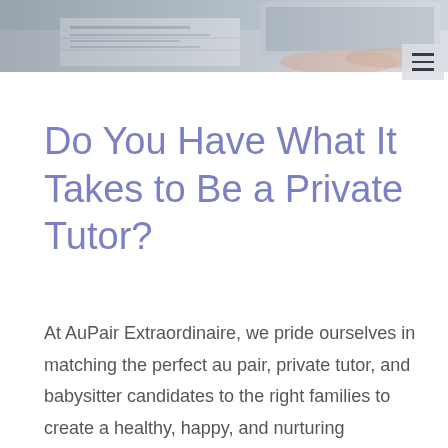[Figure (photo): Person working at a desk with papers and a laptop, photographed from above; partially cropped at top of page]
Do You Have What It Takes to Be a Private Tutor?
At AuPair Extraordinaire, we pride ourselves in matching the perfect au pair, private tutor, and babysitter candidates to the right families to create a healthy, happy, and nurturing environment for the children. Because of our commitment to the wellbeing of the children and our quest to create an